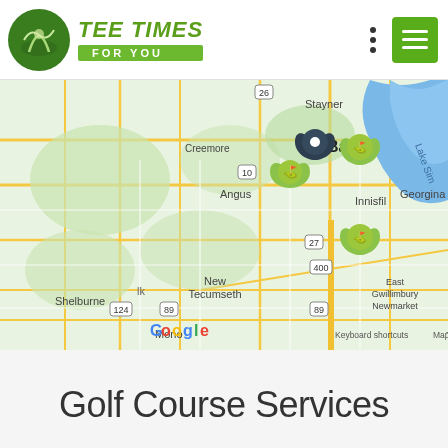[Figure (logo): Tee Times For You logo with green golf golfer circle icon and green italic text]
[Figure (map): Google Maps view showing Barrie, Ontario area with Angus, Creemore, Stayner, Innisfil, New Tecumseth, Shelburne, Mono, East Gwillimbury, Newmarket, Georgina shown. Three green golf flag markers and one dark location pin marker visible around Barrie/Angus area. Lake Simcoe visible top right. Roads 26, 10, 27, 89, 124, 400 labeled. Map data 2022 Google.]
Golf Course Services